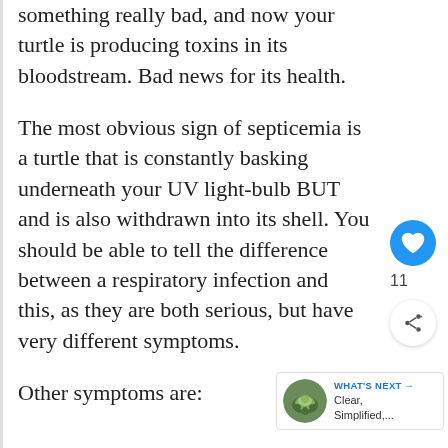something really bad, and now your turtle is producing toxins in its bloodstream. Bad news for its health.
The most obvious sign of septicemia is a turtle that is constantly basking underneath your UV light-bulb BUT and is also withdrawn into its shell. You should be able to tell the difference between a respiratory infection and this, as they are both serious, but have very different symptoms.
Other symptoms are:
[Figure (other): Heart/like button (blue circle with heart icon), like count '11', and share button on right sidebar]
[Figure (other): What's Next widget with turtle photo thumbnail, label 'WHAT'S NEXT →', and text 'Clear, Simplified,...']